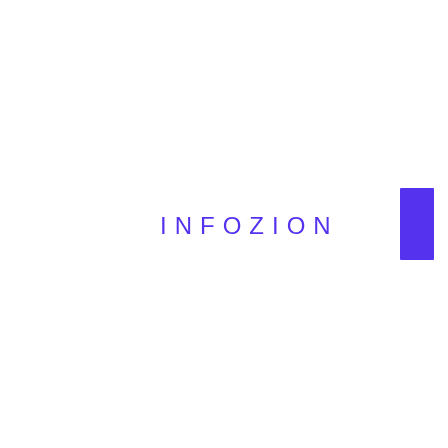[Figure (logo): Infozion logo consisting of the word INFOZION in spaced uppercase purple letters followed by a solid purple vertical rectangle bar to the right]